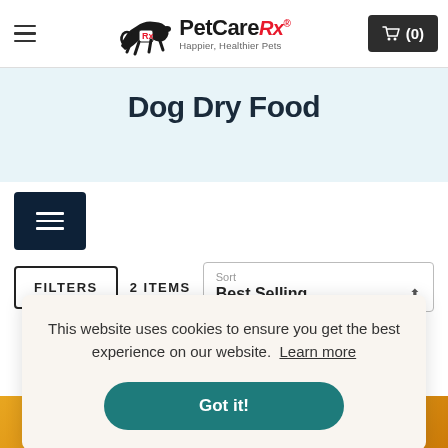PetCareRx — Happier, Healthier Pets — Navigation bar with hamburger menu and cart (0)
Dog Dry Food
FILTERS  2 ITEMS  Sort: Best Selling
This website uses cookies to ensure you get the best experience on our website. Learn more
Got it!